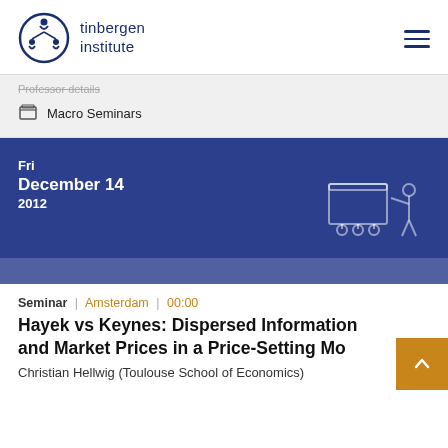tinbergen institute
Macro Seminars
[Figure (infographic): Event banner with date: Fri December 14 2012, with an illustration of a person at a presentation board]
Seminar | Amsterdam | 00:00
Hayek vs Keynes: Dispersed Information and Market Prices in a Price-Setting Mo
Christian Hellwig (Toulouse School of Economics)